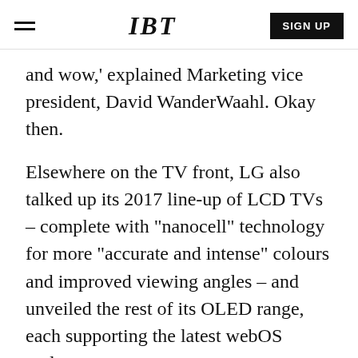IBT | SIGN UP
and wow,' explained Marketing vice president, David WanderWaahl. Okay then.
Elsewhere on the TV front, LG also talked up its 2017 line-up of LCD TVs – complete with "nanocell" technology for more "accurate and intense" colours and improved viewing angles – and unveiled the rest of its OLED range, each supporting the latest webOS update.